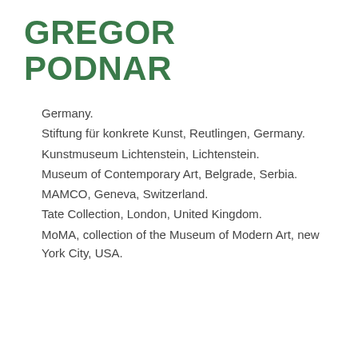GREGOR PODNAR
Germany.
Stiftung für konkrete Kunst, Reutlingen, Germany.
Kunstmuseum Lichtenstein, Lichtenstein.
Museum of Contemporary Art, Belgrade, Serbia.
MAMCO, Geneva, Switzerland.
Tate Collection, London, United Kingdom.
MoMA, collection of the Museum of Modern Art, new York City, USA.